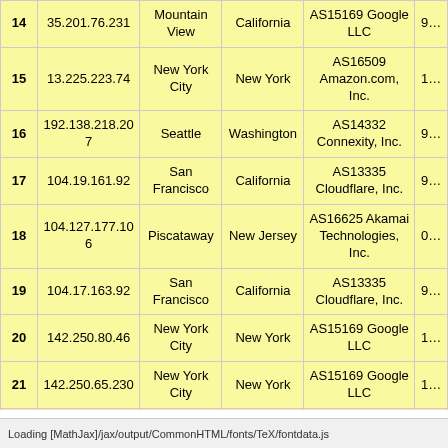| # | IP | City | State | ASN/Org |  |
| --- | --- | --- | --- | --- | --- |
| 14 | 35.201.76.231 | Mountain View | California | AS15169 Google LLC | 9… |
| 15 | 13.225.223.74 | New York City | New York | AS16509 Amazon.com, Inc. | 1… |
| 16 | 192.138.218.207 | Seattle | Washington | AS14332 Connexity, Inc. | 9… |
| 17 | 104.19.161.92 | San Francisco | California | AS13335 Cloudflare, Inc. | 9… |
| 18 | 104.127.177.106 | Piscataway | New Jersey | AS16625 Akamai Technologies, Inc. | 0… |
| 19 | 104.17.163.92 | San Francisco | California | AS13335 Cloudflare, Inc. | 9… |
| 20 | 142.250.80.46 | New York City | New York | AS15169 Google LLC | 1… |
| 21 | 142.250.65.230 | New York City | New York | AS15169 Google LLC | 1… |
| 22 | 47.246.136.248 | Washington | Washington, D.C. | AS45102 Alibaba (US) Technology Co., Ltd. | 2… |
| 23 | 107.20.106.95 | Ashburn | Virginia | AS14618 Amazon.com, Inc. | 2… |
Loading [MathJax]/jax/output/CommonHTML/fonts/TeX/fontdata.js